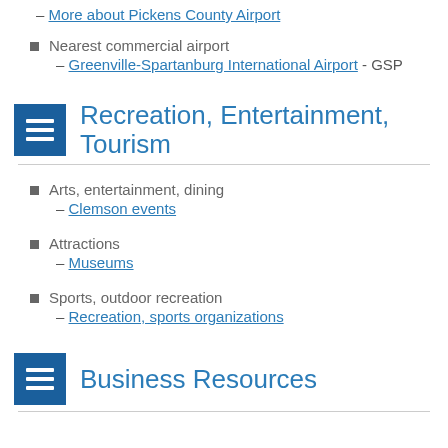– More about Pickens County Airport
Nearest commercial airport
– Greenville-Spartanburg International Airport - GSP
Recreation, Entertainment, Tourism
Arts, entertainment, dining
– Clemson events
Attractions
– Museums
Sports, outdoor recreation
– Recreation, sports organizations
Business Resources